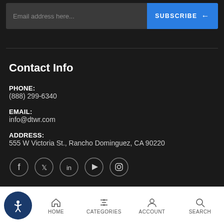Email address here...
SUBSCRIBE →
Contact Info
PHONE:
(888) 299-6340
EMAIL:
info@dtwr.com
ADDRESS:
555 W Victoria St., Rancho Dominguez, CA 90220
[Figure (other): Social media icons: Facebook, Twitter, LinkedIn, YouTube, Instagram]
HOME  CATEGORIES  ACCOUNT  SEARCH